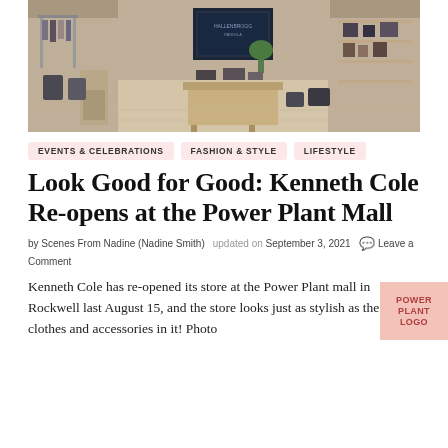[Figure (photo): Interior of Kenneth Cole store at Power Plant Mall showing merchandise displays, shelving with clothes and accessories, a central display table, and a large screen on the wall]
EVENTS & CELEBRATIONS
FASHION & STYLE
LIFESTYLE
Look Good for Good: Kenneth Cole Re-opens at the Power Plant Mall
by Scenes From Nadine (Nadine Smith)  updated on September 3, 2021  Leave a Comment
Kenneth Cole has re-opened its store at the Power Plant mall in Rockwell last August 15, and the store looks just as stylish as the clothes and accessories in it! Photo